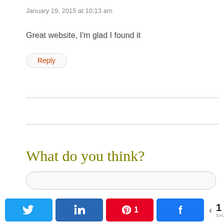January 19, 2015 at 10:13 am
Great website, I'm glad I found it
Reply
What do you think?
Name (required)
[Figure (screenshot): Social share bar with Twitter, LinkedIn, Pinterest (1), Facebook buttons and share count of 1]